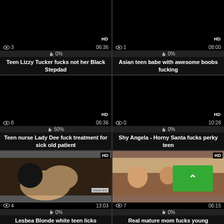[Figure (screenshot): Video thumbnail grid showing 6 video cards with titles, view counts, durations, and like percentages]
👁3  06:36  👁1  08:00
👍0%  👍0%
Teen Lizzy Tucker fucks not her Black Stepdad  HD
Asian teen babe with awesome boobs fucking  HD
👁8  06:36  👁0  10:28
👍50%  👍0%
Teen nurse Lady Dee fuck treatment for sick old patient  HD
Shy Angela - Horny Santa fucks perky teen  HD
👁4  13:03  👁7  06:15
👍0%  👍0%
Lesbea Blonde white teen licks
Real mature mom fucks young